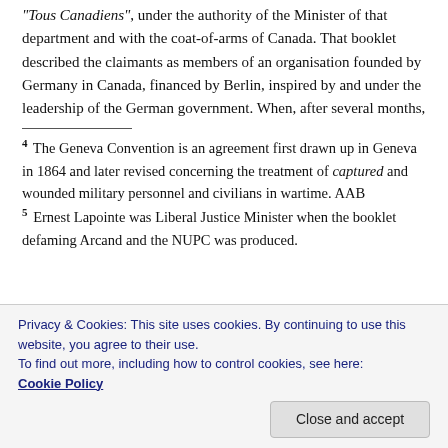“Tous Canadiens”, under the authority of the Minister of that department and with the coat-of-arms of Canada. That booklet described the claimants as members of an organisation founded by Germany in Canada, financed by Berlin, inspired by and under the leadership of the German government. When, after several months,
4 The Geneva Convention is an agreement first drawn up in Geneva in 1864 and later revised concerning the treatment of captured and wounded military personnel and civilians in wartime. AAB
5 Ernest Lapointe was Liberal Justice Minister when the booklet defaming Arcand and the NUPC was produced.
Privacy & Cookies: This site uses cookies. By continuing to use this website, you agree to their use. To find out more, including how to control cookies, see here: Cookie Policy